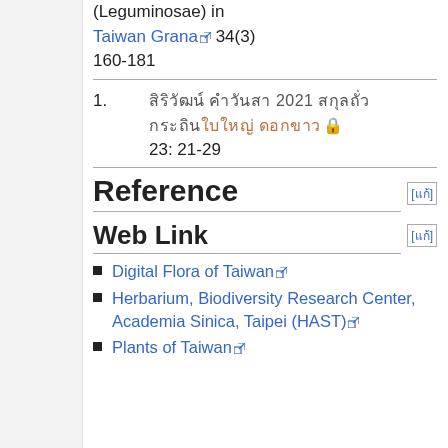(Leguminosae) in Taiwan Grana 34(3) 160-181
1. [Thai text] 2021 [Thai text] [Thai link text] [lock] 23: 21-29
Reference [edit]
Web Link [edit]
Digital Flora of Taiwan
Herbarium, Biodiversity Research Center, Academia Sinica, Taipei (HAST)
Plants of Taiwan